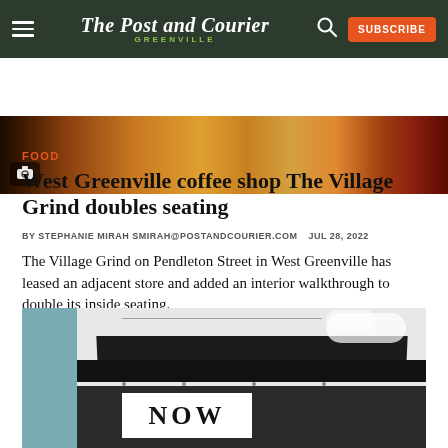The Post and Courier GREENVILLE
[Figure (photo): Top portion of interior coffee shop photo showing warm wood tones and colorful items]
FOOD
West Greenville coffee shop The Village Grind doubles seating
BY STEPHANIE MIRAH SMIRAH@POSTANDCOURIER.COM   JUL 28, 2022
The Village Grind on Pendleton Street in West Greenville has leased an adjacent store and added an interior walkthrough to double its inside seating.
[Figure (photo): Exterior of The Village Grind coffee shop building showing white brick facade with dark awning and a NOW sign visible]